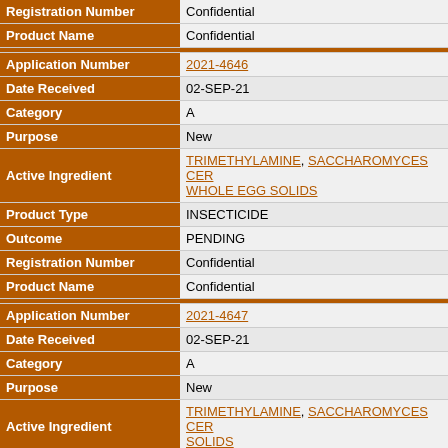| Field | Value |
| --- | --- |
| Registration Number | Confidential |
| Product Name | Confidential |
| (divider) |  |
| Application Number | 2021-4646 |
| Date Received | 02-SEP-21 |
| Category | A |
| Purpose | New |
| Active Ingredient | TRIMETHYLAMINE, SACCHAROMYCES CER... WHOLE EGG SOLIDS |
| Product Type | INSECTICIDE |
| Outcome | PENDING |
| Registration Number | Confidential |
| Product Name | Confidential |
| (divider) |  |
| Application Number | 2021-4647 |
| Date Received | 02-SEP-21 |
| Category | A |
| Purpose | New |
| Active Ingredient | TRIMETHYLAMINE, SACCHAROMYCES CER... SOLIDS |
| Product Type | INSECTICIDE |
| Outcome | PENDING |
| Registration Number | Confidential |
| Product Name | Confidential |